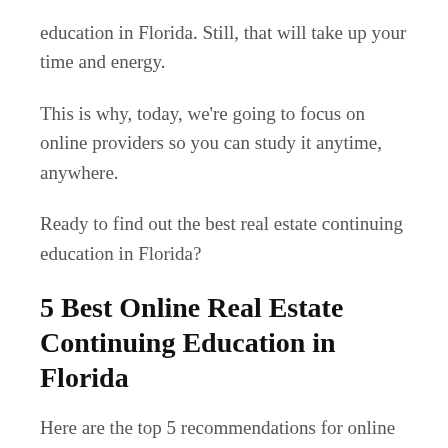education in Florida. Still, that will take up your time and energy.
This is why, today, we're going to focus on online providers so you can study it anytime, anywhere.
Ready to find out the best real estate continuing education in Florida?
5 Best Online Real Estate Continuing Education in Florida
Here are the top 5 recommendations for online real estate CE providers in the state: